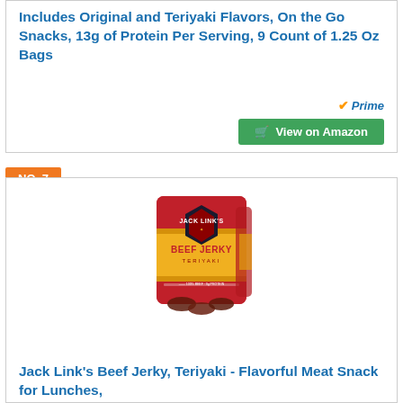Includes Original and Teriyaki Flavors, On the Go Snacks, 13g of Protein Per Serving, 9 Count of 1.25 Oz Bags
Prime
View on Amazon
NO. 7
[Figure (photo): Jack Link's Beef Jerky Teriyaki product package bag in red and yellow]
Jack Link's Beef Jerky, Teriyaki - Flavorful Meat Snack for Lunches,